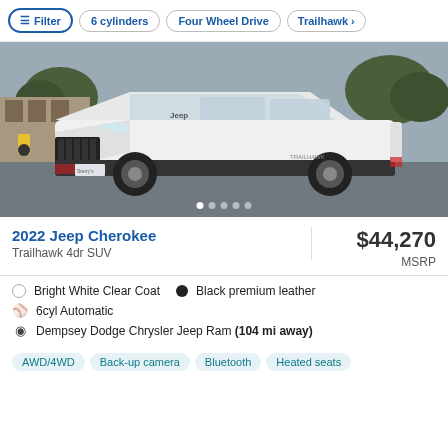Filter | 6 cylinders | Four Wheel Drive | Trailhawk >
[Figure (photo): Front 3/4 view of a white 2022 Jeep Cherokee Trailhawk SUV parked outdoors with trees and stone building in background. Image carousel indicators (5 dots) at the bottom.]
2022 Jeep Cherokee
Trailhawk 4dr SUV
$44,270 MSRP
Bright White Clear Coat   Black premium leather
6cyl Automatic
Dempsey Dodge Chrysler Jeep Ram (104 mi away)
AWD/4WD  Back-up camera  Bluetooth  Heated seats